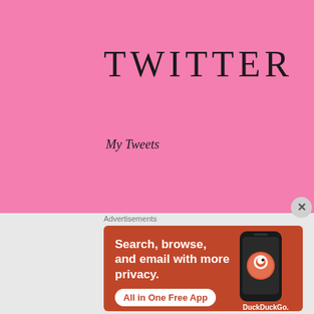TWITTER
My Tweets
Advertisements
[Figure (screenshot): DuckDuckGo advertisement banner with orange-red background. Text reads: Search, browse, and email with more privacy. All in One Free App. Shows a smartphone with DuckDuckGo logo and branding.]